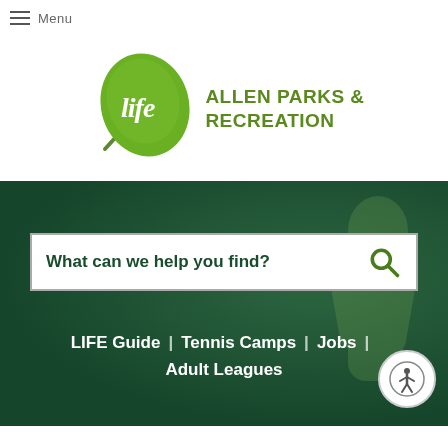Menu
[Figure (logo): Life Allen Parks & Recreation logo — green leaf with 'life' script text and bold green text 'ALLEN PARKS & RECREATION']
[Figure (screenshot): Search bar with placeholder text 'What can we help you find?' and a green magnifying glass icon, over a dark green hero image background]
LIFE Guide | Tennis Camps | Jobs | Adult Leagues